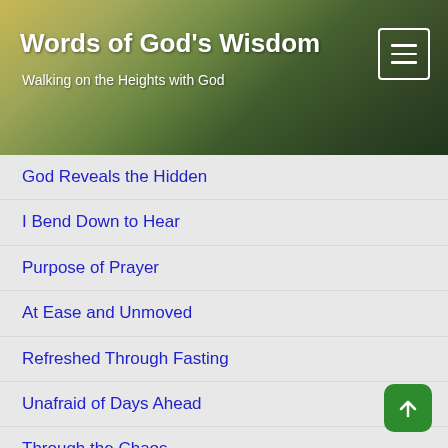Words of God's Wisdom
Walking on the Heights with God
God Reveals the Hidden
I Bend Down to Hear
Purpose of Prayer
At Ease and Unmoved
Refreshed Through Fasting
Unafraid of Days Ahead
Through the Chaos
Be Ye Refreshed
Our Only Responsibility
Just Follow God
What Should I Do
Rebuild the Walls
Season of Awakening